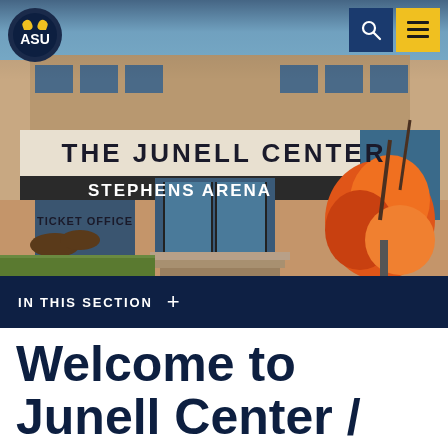[Figure (photo): Exterior photo of The Junell Center / Stephens Arena building at Angelo State University, showing brick facade with building name signage, ticket office, steps leading to entrance, and colorful flowers in foreground]
ASU logo with search and menu navigation icons
IN THIS SECTION +
Welcome to Junell Center / Stephens